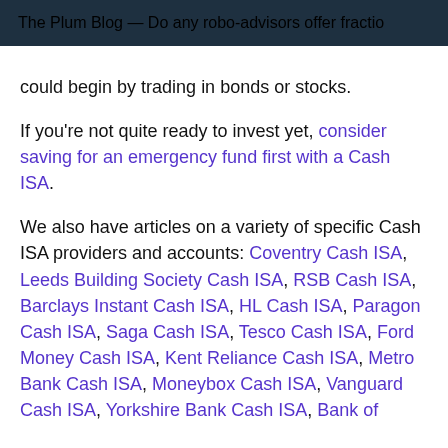The Plum Blog — Do any robo-advisors offer fractional shares?
could begin by trading in bonds or stocks.
If you're not quite ready to invest yet, consider saving for an emergency fund first with a Cash ISA.
We also have articles on a variety of specific Cash ISA providers and accounts: Coventry Cash ISA, Leeds Building Society Cash ISA, RSB Cash ISA, Barclays Instant Cash ISA, HL Cash ISA, Paragon Cash ISA, Saga Cash ISA, Tesco Cash ISA, Ford Money Cash ISA, Kent Reliance Cash ISA, Metro Bank Cash ISA, Moneybox Cash ISA, Vanguard Cash ISA, Yorkshire Bank Cash ISA, Bank of